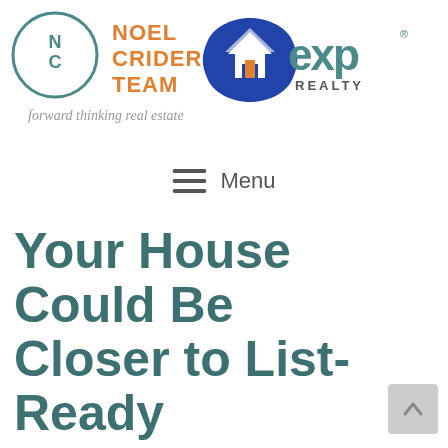[Figure (logo): Noel Crider Team and eXp Realty combined logo header]
forward thinking real estate
≡ Menu
Your House Could Be Closer to List-Ready